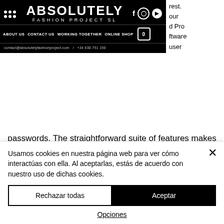[Figure (screenshot): Absolutely Fashion Project SL website navigation bar with logo, social icons (f, Instagram, YouTube), menu links (ABOUT US, CONTACT US, WORKING TOGETHER, ONLINE SHOP), cart icon with 0, and contact info.]
rest.
our
d Pro
ftware
user
passwords. The straightforward suite of features makes it suitable for rookies and professionals alike.
Review Reset Password Pro
A:
I use the GUI from Microsoft, I don't think it is free.
Usamos cookies en nuestra página web para ver cómo interactúas con ella. Al aceptarlas, estás de acuerdo con nuestro uso de dichas cookies.
Rechazar todas
Aceptar
Opciones